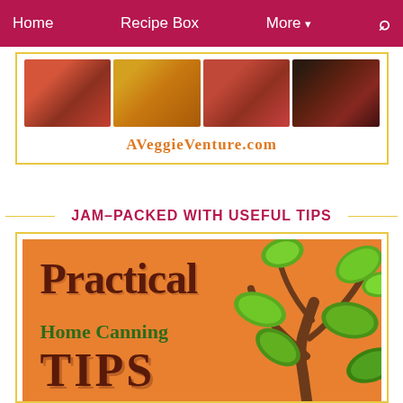Home   Recipe Box   More ▾   🔍
[Figure (photo): Four food photos in a row (pasta, soup, grain dish, pizza) above the AVeggieVenture.com website banner]
AVeggieVenture.com
JAM-PACKED WITH USEFUL TIPS
[Figure (illustration): Book cover for 'Practical Home Canning Tips' on an orange background with a brown tree/plant illustration with green leaves on the right side]